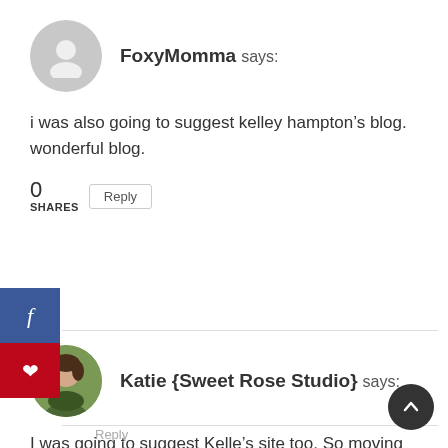FoxyMomma says:
i was also going to suggest kelley hampton’s blog. wonderful blog.
0 SHARES   Reply
Katie {Sweet Rose Studio} says:
I was going to suggest Kelle’s site too. So moving and so full of hope.
Reply